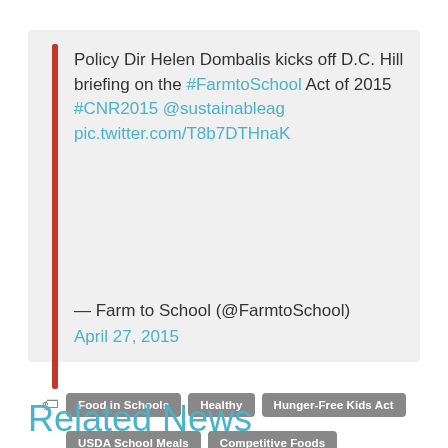Policy Dir Helen Dombalis kicks off D.C. Hill briefing on the #FarmtoSchool Act of 2015 #CNR2015 @sustainableag pic.twitter.com/T8b7DTHnaK
— Farm to School (@FarmtoSchool) April 27, 2015
Food in Schools
Healthy
Hunger-Free Kids Act
USDA School Meals
Competitive Foods
Built Environment
Issue - Healthy Food Access
Related News